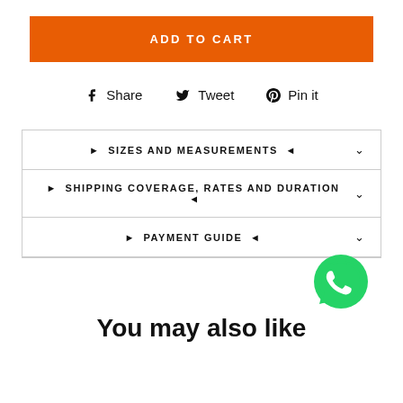ADD TO CART
Share  Tweet  Pin it
SIZES AND MEASUREMENTS
SHIPPING COVERAGE, RATES AND DURATION
PAYMENT GUIDE
[Figure (logo): WhatsApp green chat bubble logo]
You may also like